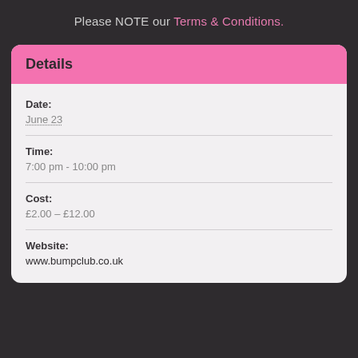Please NOTE our Terms & Conditions.
Details
Date:
June 23
Time:
7:00 pm - 10:00 pm
Cost:
£2.00 – £12.00
Website:
www.bumpclub.co.uk